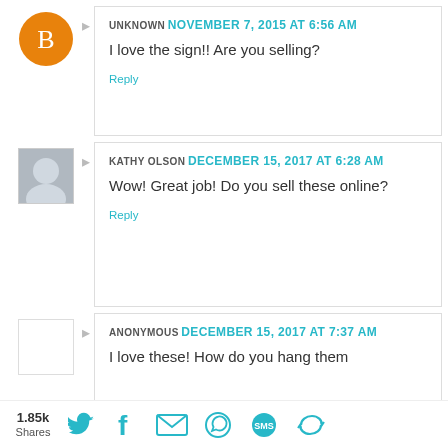UNKNOWN NOVEMBER 7, 2015 AT 6:56 AM
I love the sign!! Are you selling?
Reply
KATHY OLSON DECEMBER 15, 2017 AT 6:28 AM
Wow! Great job! Do you sell these online?
Reply
ANONYMOUS DECEMBER 15, 2017 AT 7:37 AM
I love these! How do you hang them
1.85k Shares